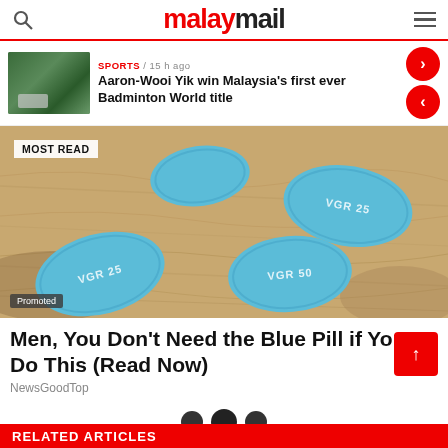malaymail
SPORTS / 15 h ago
Aaron-Wooi Yik win Malaysia's first ever Badminton World title
[Figure (photo): Close-up photo of blue Viagra pills (VGR 25 and VGR 50) resting on a hand, with MOST READ label and Promoted tag]
Men, You Don't Need the Blue Pill if You Do This (Read Now)
NewsGoodTop
RELATED ARTICLES